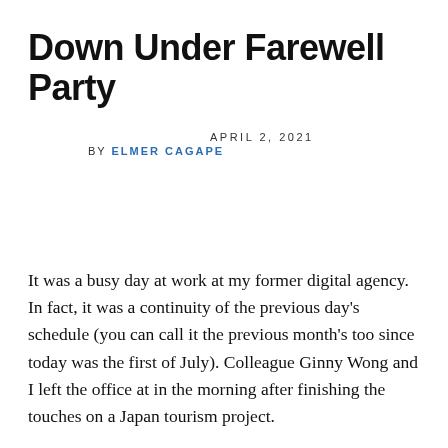Down Under Farewell Party
APRIL 2, 2021
BY ELMER CAGAPE
It was a busy day at work at my former digital agency. In fact, it was a continuity of the previous day’s schedule (you can call it the previous month’s too since today was the first of July). Colleague Ginny Wong and I left the office at in the morning after finishing the touches on a Japan tourism project.